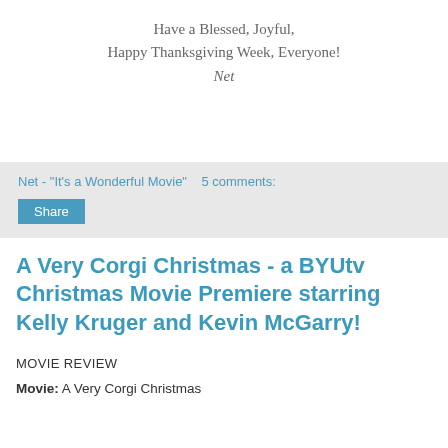Have a Blessed, Joyful,
Happy Thanksgiving Week, Everyone!
Net
Net - "It's a Wonderful Movie"    5 comments:
Share
A Very Corgi Christmas - a BYUtv Christmas Movie Premiere starring Kelly Kruger and Kevin McGarry!
MOVIE REVIEW
Movie: A Very Corgi Christmas